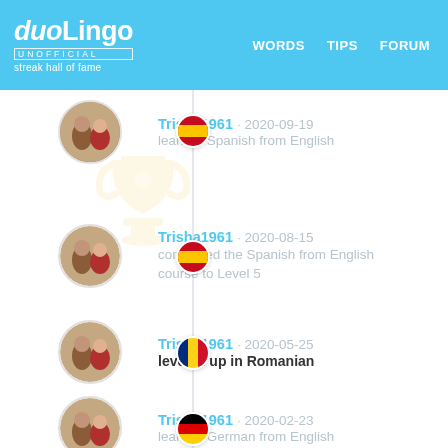duoLingo UNOFFICIAL streak hall of fame | WORDS | TIPS | FORUM
Trisha1961 · 2020-09-19 learned Spanish from English
Trisha1961 · 2020-08-15 completed the Spanish from English course to Level 5
Trisha1961 · 2020-05-25 leveled up in Romanian
Trisha1961 · 2020-02-23 learned German from English